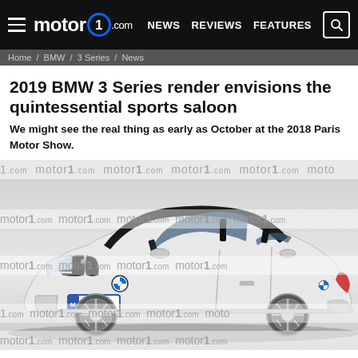motor1.com — NEWS REVIEWS FEATURES
Home > BMW > 3 Series > News
2019 BMW 3 Series render envisions the quintessential sports saloon
We might see the real thing as early as October at the 2018 Paris Motor Show.
[Figure (photo): Render of white 2019 BMW 3 Series sedan with M WX 9321 plate, watermarked with motor1.com text]